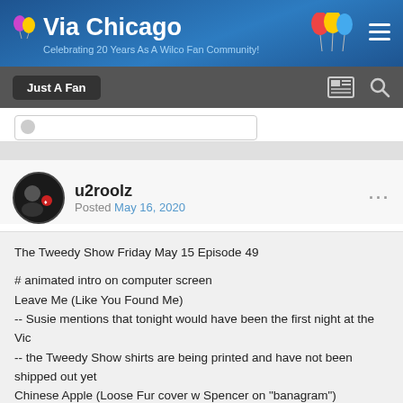Via Chicago — Celebrating 20 Years As A Wilco Fan Community!
Just A Fan
u2roolz
Posted May 16, 2020
The Tweedy Show Friday May 15 Episode 49

# animated intro on computer screen
Leave Me (Like You Found Me)
-- Susie mentions that tonight would have been the first night at the Vic
-- the Tweedy Show shirts are being printed and have not been shipped out yet
Chinese Apple (Loose Fur cover w Spencer on "banagram")
-- Jeff says that Chinese Apple is in the same tuning as In A Future